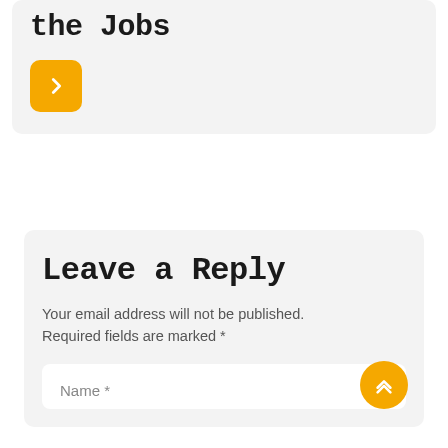the Jobs
[Figure (other): Orange rounded square button with a right-pointing chevron arrow icon]
Leave a Reply
Your email address will not be published. Required fields are marked *
Name *